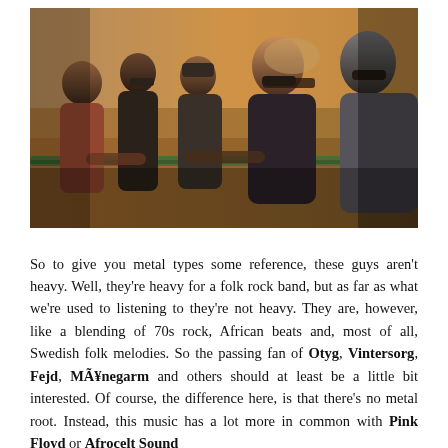[Figure (photo): A group of people standing by a green railing outdoors in warm sunset light. Several of them wear sunglasses and winter jackets. They appear to be watching something in the distance.]
So to give you metal types some reference, these guys aren't heavy. Well, they're heavy for a folk rock band, but as far as what we're used to listening to they're not heavy. They are, however, like a blending of 70s rock, African beats and, most of all, Swedish folk melodies. So the passing fan of Otyg, Vintersorg, Fejd, MÃ¥negarm and others should at least be a little bit interested. Of course, the difference here, is that there's no metal root. Instead, this music has a lot more in common with Pink Floyd or Afrocelt Sound